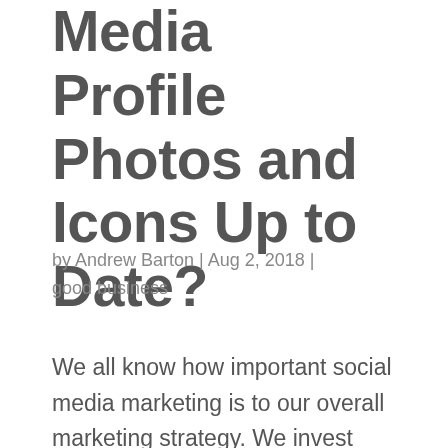Media Profile Photos and Icons Up to Date?
by Andrew Barton | Aug 2, 2018 | good business
We all know how important social media marketing is to our overall marketing strategy. We invest time, money and resources into creating